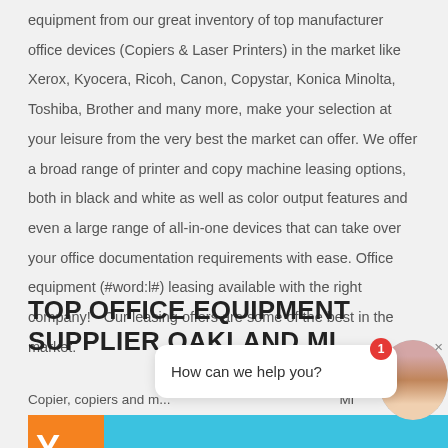equipment from our great inventory of top manufacturer office devices (Copiers & Laser Printers) in the market like Xerox, Kyocera, Ricoh, Canon, Copystar, Konica Minolta, Toshiba, Brother and many more, make your selection at your leisure from the very best the market can offer. We offer a broad range of printer and copy machine leasing options, both in black and white as well as color output features and even a large range of all-in-one devices that can take over your office documentation requirements with ease. Office equipment (#word:l#) leasing available with the right company! - Our leasing offers are some of the best in the market.
TOP OFFICE EQUIPMENT SUPPLIER OAKLAND MI
Copier, copiers and m... MI
[Figure (screenshot): Chat bubble overlay with 'How can we help you?' text, agent avatar with notification badge, and close button. Orange and blue banner visible at bottom.]